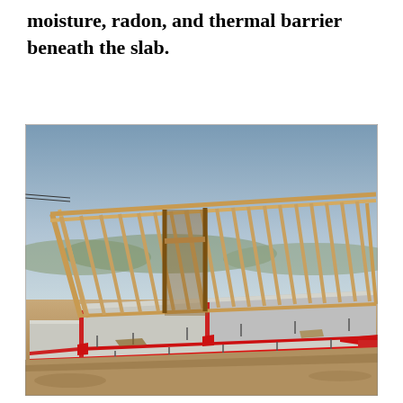moisture, radon, and thermal barrier beneath the slab.
[Figure (photo): Construction site photo showing wood-framed wall studs standing on a concrete slab foundation with red foam insulation tape/strips visible at the slab edges and seams. The background shows a hazy sky and distant landscape. The concrete foundation has a grid of anchor bolts and red-highlighted joints.]